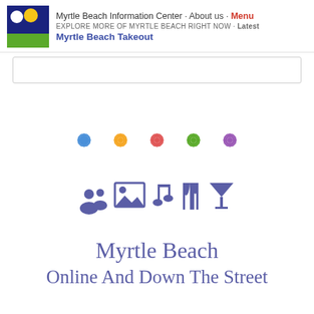Myrtle Beach Information Center · About us · Menu
EXPLORE MORE OF MYRTLE BEACH RIGHT NOW · Latest
Myrtle Beach Takeout
[Figure (other): Search bar area, empty white rectangle with border]
[Figure (illustration): Five decorative flower/mandala icons in a row: blue, yellow/orange, red/pink, green, purple]
[Figure (illustration): Row of purple icons: people/users, image/photo, music note, utensils/fork-knife, cocktail/martini glass]
Myrtle Beach
Online And Down The Street